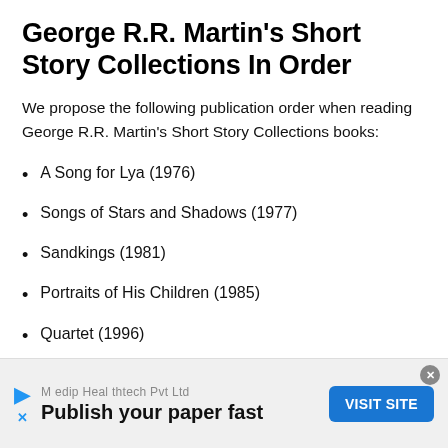George R.R. Martin's Short Story Collections In Order
We propose the following publication order when reading George R.R. Martin's Short Story Collections books:
A Song for Lya (1976)
Songs of Stars and Shadows (1977)
Sandkings (1981)
Portraits of His Children (1985)
Quartet (1996)
[Figure (other): Advertisement banner: Medip Healthtech Pvt Ltd — Publish your paper fast — VISIT SITE button]